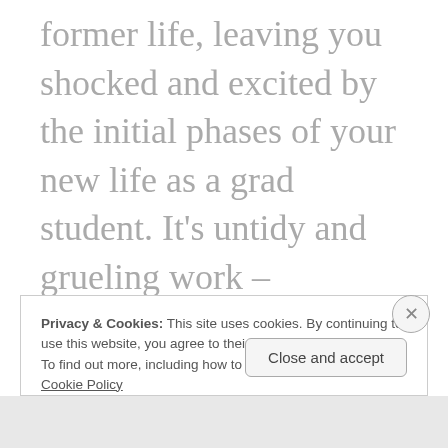former life, leaving you shocked and excited by the initial phases of your new life as a grad student. It's untidy and grueling work – relocating, shaking hands multiple times a day and answering questions about where you were previously and what area of the discipline you wish to master, but it feels purposeful and powerful. It's exciting and
Privacy & Cookies: This site uses cookies. By continuing to use this website, you agree to their use.
To find out more, including how to control cookies, see here: Cookie Policy
Close and accept